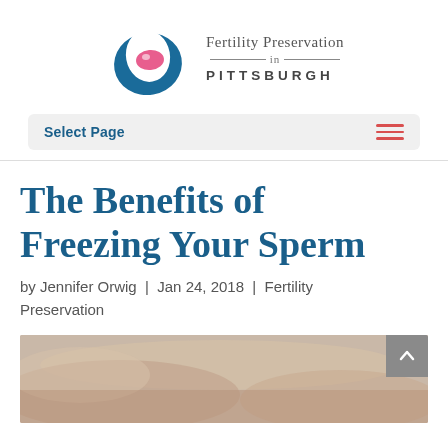Fertility Preservation in PITTSBURGH
Select Page
The Benefits of Freezing Your Sperm
by Jennifer Orwig | Jan 24, 2018 | Fertility Preservation
[Figure (photo): Close-up photo of hands, warm tones, beige and skin tones background]